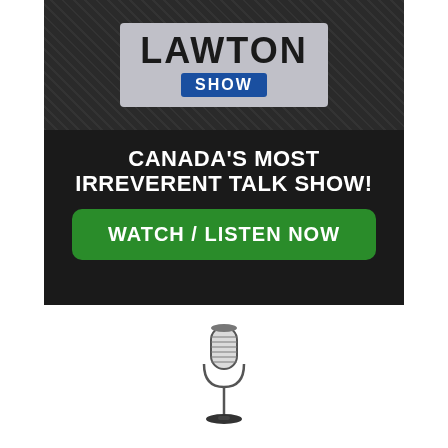[Figure (illustration): The Lawton Show banner advertisement on dark background. Shows 'LAWTON SHOW' logo at top, tagline 'CANADA'S MOST IRREVERENT TALK SHOW!' in white bold text, and a green button 'WATCH / LISTEN NOW']
[Figure (illustration): Vintage-style microphone icon on white background]